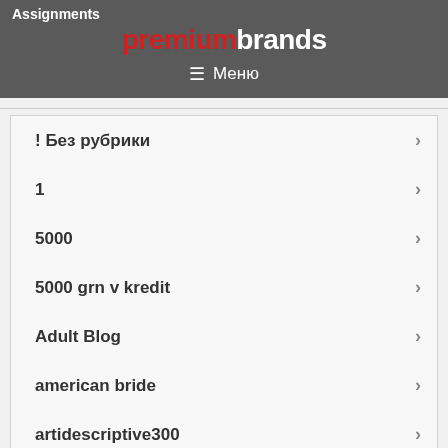Assignments premiumbrands
≡ Меню
! Без рубрики
1
5000
5000 grn v kredit
Adult Blog
american bride
artidescriptive300